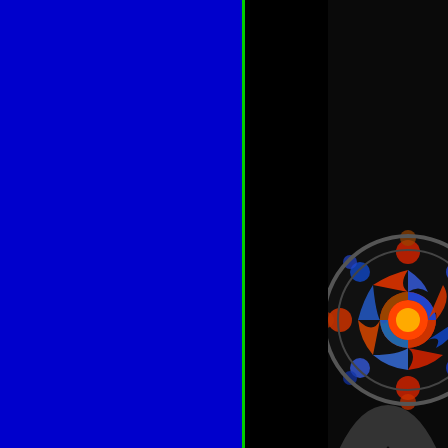[Figure (photo): Blue panel on left side of page with green vertical border line on right edge]
[Figure (photo): Stained glass rose window of a cathedral (southern transept), photographed from below in dark interior. Colorful circular rose window with intricate patterns in red, blue, green. Copyright notice '© 2009 a' visible at bottom.]
Southern transept [méridion... centre, the Holy Spirit. In the parchments rolls and small p... the right, the Original Sin in... Annunciation to the Resurre...